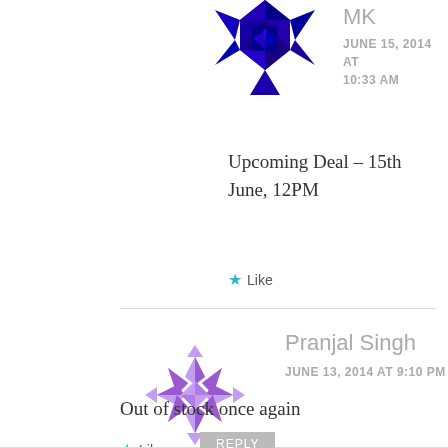[Figure (illustration): Dark blue/purple geometric avatar for user MK, partially cropped at top]
MK
JUNE 15, 2014 AT 10:33 AM
Upcoming Deal – 15th June, 12PM
Like
[Figure (illustration): Purple geometric/mandala style avatar for user Pranjal Singh]
Pranjal Singh
JUNE 13, 2014 AT 9:10 PM
Out of stock once again
Like